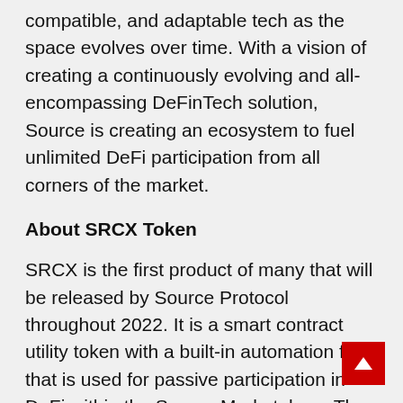compatible, and adaptable tech as the space evolves over time. With a vision of creating a continuously evolving and all-encompassing DeFinTech solution, Source is creating an ecosystem to fuel unlimited DeFi participation from all corners of the market.
About SRCX Token
SRCX is the first product of many that will be released by Source Protocol throughout 2022. It is a smart contract utility token with a built-in automation fee that is used for passive participation in DeFi within the Source Marketplace. The automation fee is used to produce two types of rewards, Loyalty Echoes and Yield Echoes. Loyalty Echoes are generated with every transaction on the